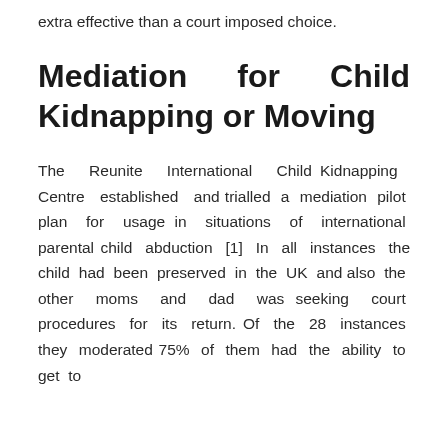extra effective than a court imposed choice.
Mediation for Child Kidnapping or Moving
The Reunite International Child Kidnapping Centre established and trialled a mediation pilot plan for usage in situations of international parental child abduction [1] In all instances the child had been preserved in the UK and also the other moms and dad was seeking court procedures for its return. Of the 28 instances they moderated 75% of them had the ability to get to